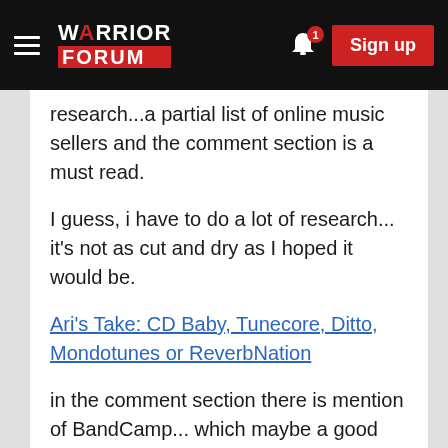Warrior Forum — Sign up
research...a partial list of online music sellers and the comment section is a must read.
I guess, i have to do a lot of research... it's not as cut and dry as I hoped it would be.
Ari's Take: CD Baby, Tunecore, Ditto, Mondotunes or ReverbNation
in the comment section there is mention of BandCamp... which maybe a good start for newbies like